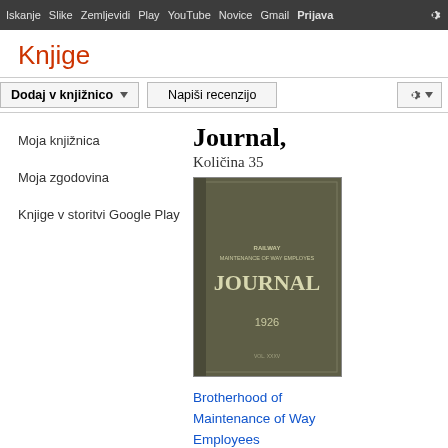Iskanje Slike Zemljevidi Play YouTube Novice Gmail Prijava
Knjige
Dodaj v knjižnico  Napiši recenzijo
Moja knjižnica
Moja zgodovina
Knjige v storitvi Google Play
Journal, Količina 35
[Figure (photo): Cover of Railway Maintenance of Way Employees Journal, 1926, dark olive green book cover]
Brotherhood of Maintenance of Way Employees